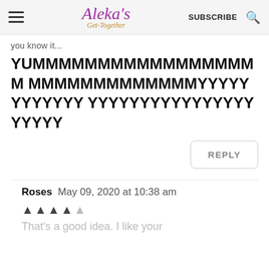Aleka's Get-Together | SUBSCRIBE | [search icon]
YUMMMMMMMMMMMMMMMMMMMMMMMMMMMMMMMMMMMMMMMYYYYYYYYYYYYYYYYYYYYYYYYYYYYYYYYYYYYYYY
REPLY
Roses  May 09, 2020 at 10:38 am
★★★★★ (1 filled, 4 empty)
That's a good idea. I like your